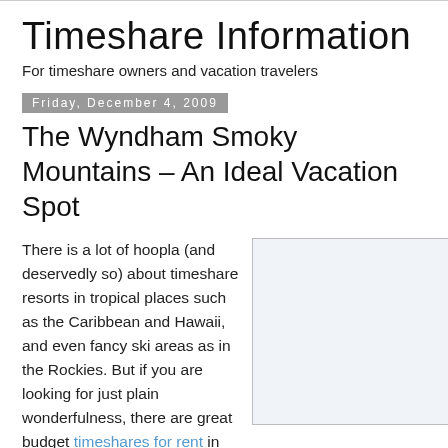Timeshare Information
For timeshare owners and vacation travelers
Friday, December 4, 2009
The Wyndham Smoky Mountains – An Ideal Vacation Spot
There is a lot of hoopla (and deservedly so) about timeshare resorts in tropical places such as the Caribbean and Hawaii, and even fancy ski areas as in the Rockies. But if you are looking for just plain wonderfulness, there are great budget timeshares for rent in beautiful destinations you just might not know about
[Figure (photo): Image placeholder for Wyndham Smoky Mountains resort photo]